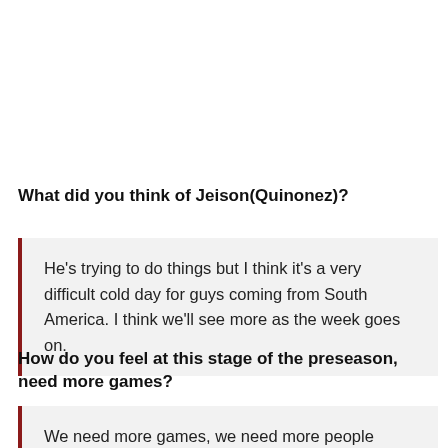What did you think of Jeison(Quinonez)?
He's trying to do things but I think it's a very difficult cold day for guys coming from South America. I think we'll see more as the week goes on.
How do you feel at this stage of the preseason, need more games?
We need more games, we need more people